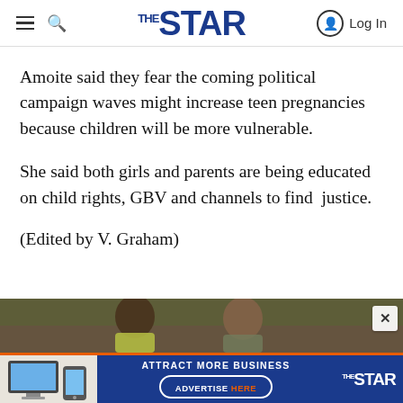THE STAR
Amoite said they fear the coming political campaign waves might increase teen pregnancies because children will be more vulnerable.
She said both girls and parents are being educated on child rights, GBV and channels to find  justice.
(Edited by V. Graham)
[Figure (photo): Two young people standing outdoors against a rustic background]
[Figure (infographic): Advertisement banner: ATTRACT MORE BUSINESS / ADVERTISE HERE — The Star newspaper ad]